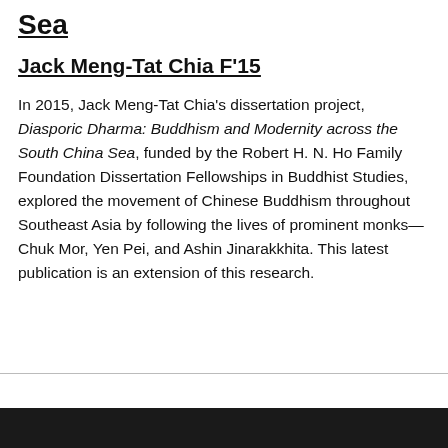Sea
Jack Meng-Tat Chia F'15
In 2015, Jack Meng-Tat Chia's dissertation project, Diasporic Dharma: Buddhism and Modernity across the South China Sea, funded by the Robert H. N. Ho Family Foundation Dissertation Fellowships in Buddhist Studies, explored the movement of Chinese Buddhism throughout Southeast Asia by following the lives of prominent monks—Chuk Mor, Yen Pei, and Ashin Jinarakkhita. This latest publication is an extension of this research.